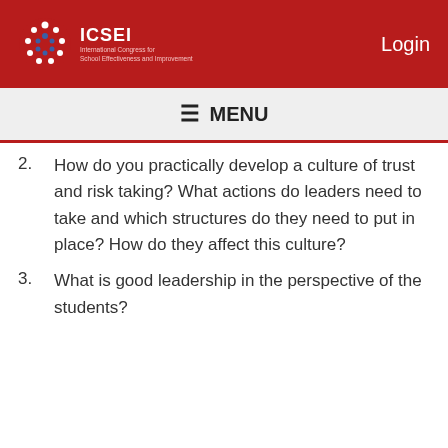ICSEI | Login
≡ MENU
2. How do you practically develop a culture of trust and risk taking? What actions do leaders need to take and which structures do they need to put in place? How do they affect this culture?
3. What is good leadership in the perspective of the students?